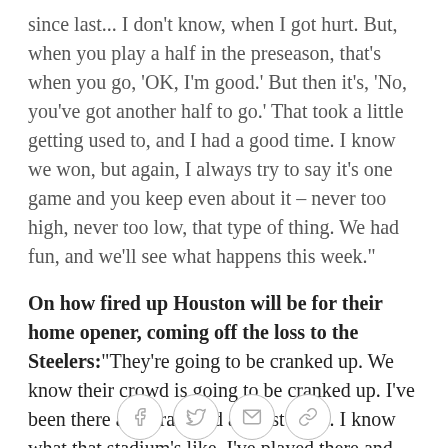since last... I don't know, when I got hurt. But, when you play a half in the preseason, that's when you go, 'OK, I'm good.' But then it's, 'No, you've got another half to go.' That took a little getting used to, and I had a good time. I know we won, but again, I always try to say it's one game and you keep even about it – never too high, never too low, that type of thing. We had fun, and we'll see what happens this week."
On how fired up Houston will be for their home opener, coming off the loss to the Steelers: "They're going to be cranked up. We know their crowd is going to be cranked up. I've been there and practiced against them. I know what that stadium's like. I've played there and it's loud and it's a tough place to play. Those people from Houston, they love their football. That's a
[Figure (other): Social sharing icons: Facebook, Twitter, Email, Link/chain]